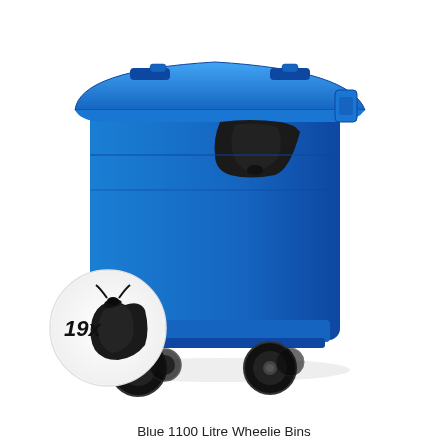[Figure (illustration): A large blue 1100 litre wheelie bin with a black liner/bag visible at the top, mounted on four wheels (two with gold/brass brake casters). In the lower-left corner is a circular inset showing a black bin bag with the label '19x' indicating 19 bin bags fit inside.]
Blue 1100 Litre Wheelie Bins